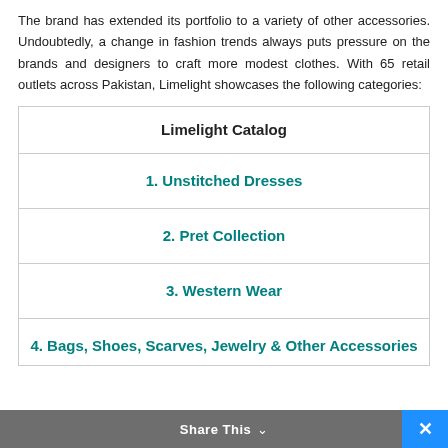The brand has extended its portfolio to a variety of other accessories. Undoubtedly, a change in fashion trends always puts pressure on the brands and designers to craft more modest clothes. With 65 retail outlets across Pakistan, Limelight showcases the following categories:
| Limelight Catalog |
| --- |
| 1. Unstitched Dresses |
| 2. Pret Collection |
| 3. Western Wear |
| 4. Bags, Shoes, Scarves, Jewelry & Other Accessories |
Share This